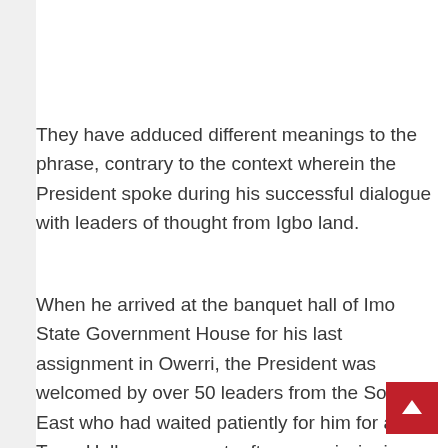They have adduced different meanings to the phrase, contrary to the context wherein the President spoke during his successful dialogue with leaders of thought from Igbo land.
When he arrived at the banquet hall of Imo State Government House for his last assignment in Owerri, the President was welcomed by over 50 leaders from the South East who had waited patiently for him for a Town Hall engagement, after commissioning strategic projects in the State.”